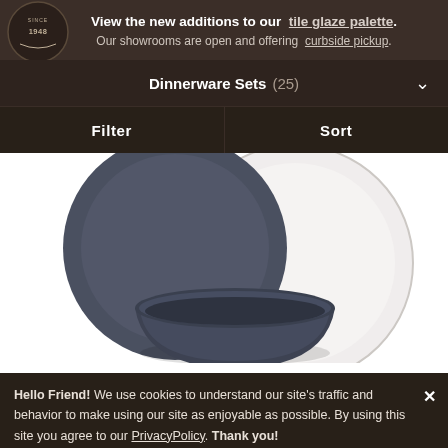View the new additions to our tile glaze palette. Our showrooms are open and offering curbside pickup.
Dinnerware Sets (25)
Filter  Sort
[Figure (photo): Product photo of a dark slate/charcoal dinnerware set including a large dinner plate, a salad plate, and a small bowl, shown against a white background.]
Hello Friend!  We use cookies to understand our site's traffic and behavior to make using our site as enjoyable as possible. By using this site you agree to our PrivacyPolicy.  Thank you!